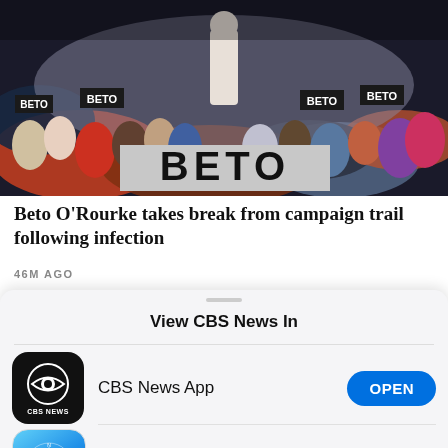[Figure (photo): Beto O'Rourke campaign rally photo showing a crowd of supporters holding BETO campaign signs, with a large BETO banner in the foreground]
Beto O'Rourke takes break from campaign trail following infection
46M AGO
View CBS News In
CBS News App
OPEN
Safari
CONTINUE